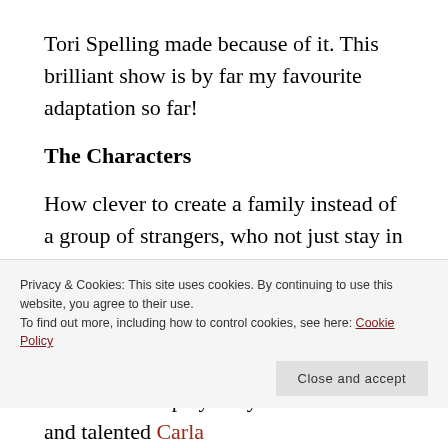Tori Spelling made because of it. This brilliant show is by far my favourite adaptation so far!
The Characters
How clever to create a family instead of a group of strangers, who not just stay in the house for a short period of time, but live in it. Each sibling has the name of the famous characters from the book, including Nell. (Oh Nell… My heart is still pounding over the episode I watched last.) Even the author's name is used, which is…
Privacy & Cookies: This site uses cookies. By continuing to use this website, you agree to their use.
To find out more, including how to control cookies, see here: Cookie Policy
The mother is played by the beautiful and talented Carla